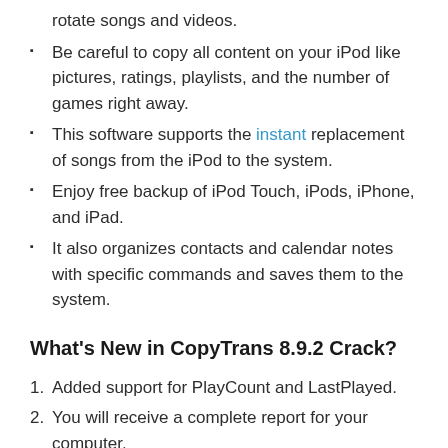rotate songs and videos.
Be careful to copy all content on your iPod like pictures, ratings, playlists, and the number of games right away.
This software supports the instant replacement of songs from the iPod to the system.
Enjoy free backup of iPod Touch, iPods, iPhone, and iPad.
It also organizes contacts and calendar notes with specific commands and saves them to the system.
What's New in CopyTrans 8.9.2 Crack?
Added support for PlayCount and LastPlayed.
You will receive a complete report for your computer.
The Help section was redesigned to help users quickly get instructions.
There are also some improvements in interface cleaning.